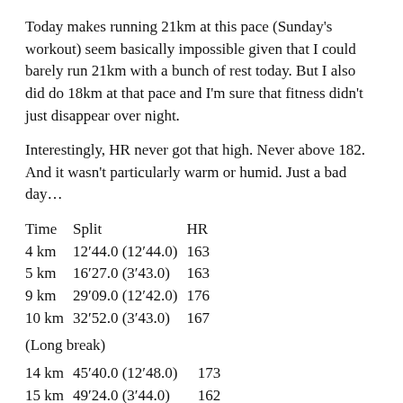Today makes running 21km at this pace (Sunday's workout) seem basically impossible given that I could barely run 21km with a bunch of rest today. But I also did do 18km at that pace and I'm sure that fitness didn't just disappear over night.
Interestingly, HR never got that high. Never above 182. And it wasn't particularly warm or humid. Just a bad day…
| Time | Split | HR |
| --- | --- | --- |
| 4 km | 12′44.0 | (12′44.0) | 163 |
| 5 km | 16′27.0 | (3′43.0) | 163 |
| 9 km | 29′09.0 | (12′42.0) | 176 |
| 10 km | 32′52.0 | (3′43.0) | 167 |
(Long break)
| 14 km | 45′40.0 | (12′48.0) | 173 |
| 15 km | 49′24.0 | (3′44.0) | 162 |
| 19 km | 1′02′14.0 | (12′50.0) | 172 |